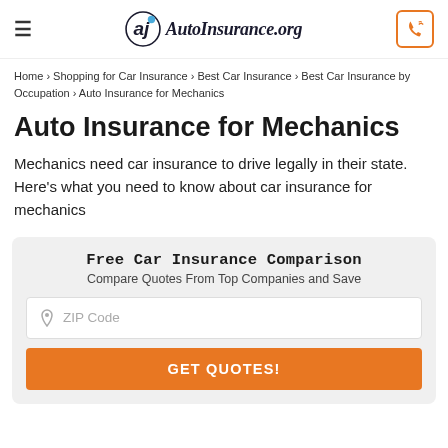AutoInsurance.org
Home › Shopping for Car Insurance › Best Car Insurance › Best Car Insurance by Occupation › Auto Insurance for Mechanics
Auto Insurance for Mechanics
Mechanics need car insurance to drive legally in their state. Here's what you need to know about car insurance for mechanics
Free Car Insurance Comparison
Compare Quotes From Top Companies and Save
ZIP Code
GET QUOTES!